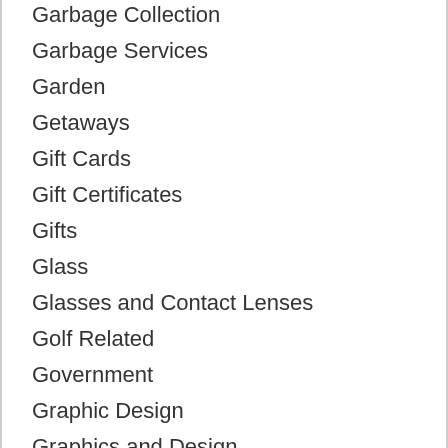Garbage Collection
Garbage Services
Garden
Getaways
Gift Cards
Gift Certificates
Gifts
Glass
Glasses and Contact Lenses
Golf Related
Government
Graphic Design
Graphics and Design
Grass
Gravel and Sand